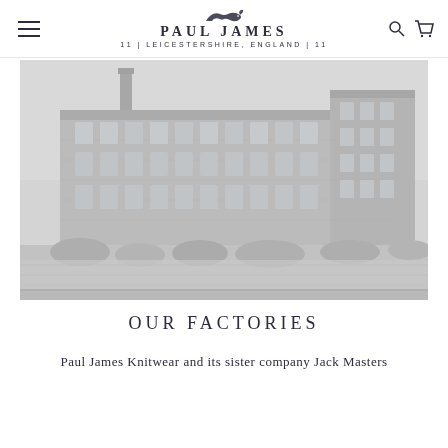PAUL JAMES | LEICESTERSHIRE, ENGLAND |
[Figure (photo): Black and white historical photograph of a large multi-story brick factory building, appearing to be a Victorian-era textile mill in Leicestershire, England. The building has many windows arranged in rows across multiple floors. There is a chimney visible and some vegetation in the foreground.]
OUR FACTORIES
Paul James Knitwear and its sister company Jack Masters